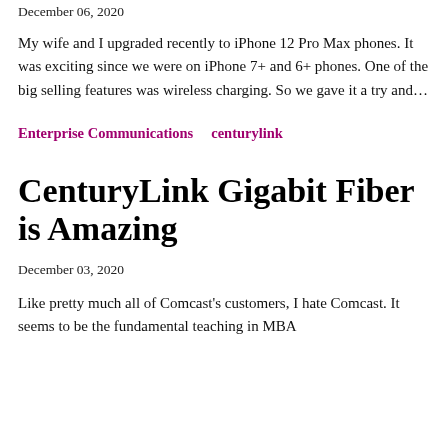December 06, 2020
My wife and I upgraded recently to iPhone 12 Pro Max phones. It was exciting since we were on iPhone 7+ and 6+ phones. One of the big selling features was wireless charging. So we gave it a try and…
Enterprise Communications    centurylink
CenturyLink Gigabit Fiber is Amazing
December 03, 2020
Like pretty much all of Comcast's customers, I hate Comcast. It seems to be the fundamental teaching in MBA